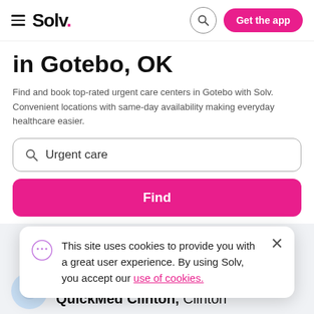Solv. — Get the app
in Gotebo, OK
Find and book top-rated urgent care centers in Gotebo with Solv. Convenient locations with same-day availability making everyday healthcare easier.
Urgent care
Find
This site uses cookies to provide you with a great user experience. By using Solv, you accept our use of cookies.
Alliance Health Med Group QuickMed Clinton, Clinton